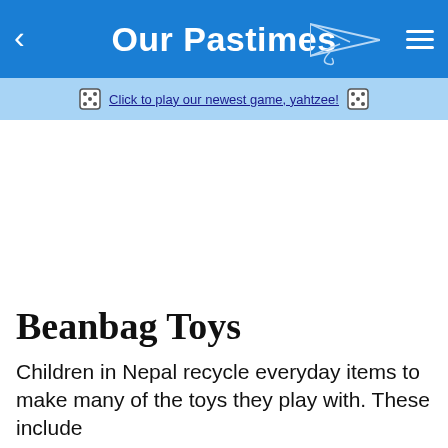Our Pastimes
Click to play our newest game, yahtzee!
[Figure (other): Advertisement placeholder area (blank white space)]
Beanbag Toys
Children in Nepal recycle everyday items to make many of the toys they play with. These include